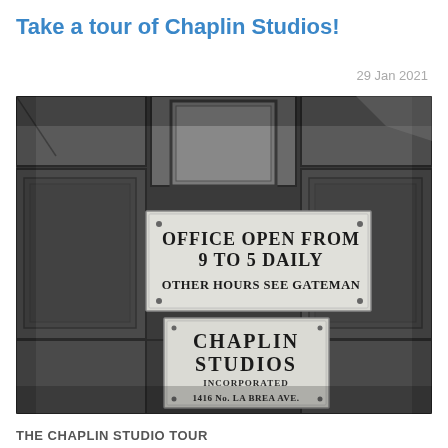Take a tour of Chaplin Studios!
29 Jan 2021
[Figure (photo): Black and white photograph of two signs mounted on a brick wall. The upper sign reads: OFFICE OPEN FROM 9 TO 5 DAILY OTHER HOURS SEE GATEMAN. The lower sign reads: CHAPLIN STUDIOS INCORPORATED 1416 No. LA BREA AVE.]
THE CHAPLIN STUDIO TOUR